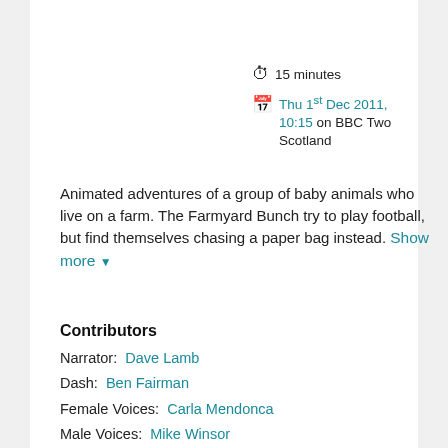15 minutes
Thu 1st Dec 2011, 10:15 on BBC Two Scotland
Animated adventures of a group of baby animals who live on a farm. The Farmyard Bunch try to play football, but find themselves chasing a paper bag instead. Show more
Contributors
Narrator: Dave Lamb
Dash: Ben Fairman
Female Voices: Carla Mendonca
Male Voices: Mike Winsor
Petal: Gemma Harvey
Gobo: Ellie Fairman